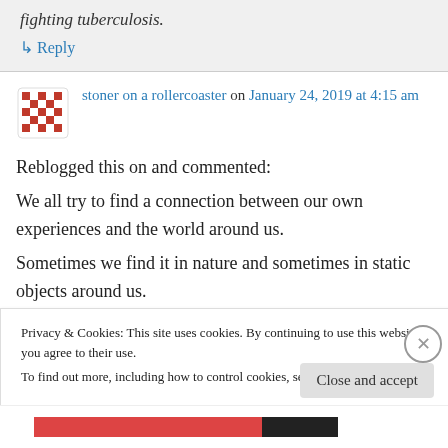fighting tuberculosis.
↳ Reply
stoner on a rollercoaster on January 24, 2019 at 4:15 am
Reblogged this on and commented:
We all try to find a connection between our own experiences and the world around us.
Sometimes we find it in nature and sometimes in static objects around us.
Privacy & Cookies: This site uses cookies. By continuing to use this website, you agree to their use.
To find out more, including how to control cookies, see here: Cookie Policy
Close and accept